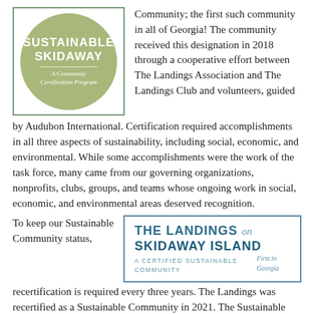[Figure (logo): Sustainable Skidaway logo: circular green/olive badge with 'SUSTAINABLE SKIDAWAY' text and 'A Community Certification Program' subtitle, inside a green-bordered square frame]
Community; the first such community in all of Georgia! The community received this designation in 2018 through a cooperative effort between The Landings Association and The Landings Club and volunteers, guided by Audubon International. Certification required accomplishments in all three aspects of sustainability, including social, economic, and environmental. While some accomplishments were the work of the task force, many came from our governing organizations, nonprofits, clubs, groups, and teams whose ongoing work in social, economic, and environmental areas deserved recognition.
To keep our Sustainable Community status,
[Figure (logo): The Landings on Skidaway Island logo: 'THE LANDINGS on SKIDAWAY ISLAND' in blue uppercase text with bird graphic, subtitle 'A CERTIFIED SUSTAINABLE COMMUNITY' and 'First in Georgia', inside a blue-bordered rectangle]
recertification is required every three years. The Landings was recertified as a Sustainable Community in 2021. The Sustainable Skidaway Task Force is now open for volunteers to prepare for the next recertification in Spring 2024. Working on the Sustainable Skidaway Task Force is a great way to learn more